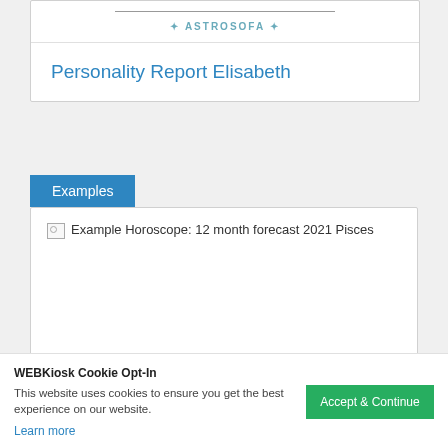[Figure (logo): Astrosofa logo with horizontal line and stylized text]
Personality Report Elisabeth
Examples
[Figure (screenshot): Broken image placeholder for Example Horoscope: 12 month forecast 2021 Pisces]
Example Horoscope: 12 month forecast 2021 Pisces
WEBKiosk Cookie Opt-In
This website uses cookies to ensure you get the best experience on our website.
Accept & Continue
Learn more